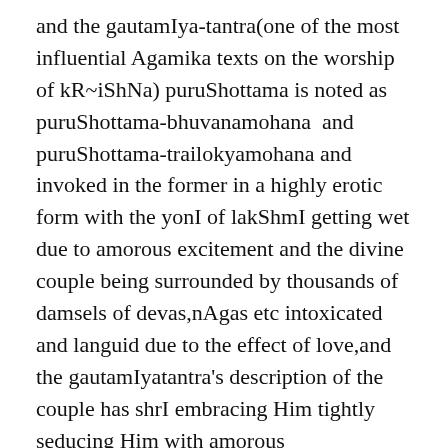and the gautamIya-tantra(one of the most influential Agamika texts on the worship of kR~iShNa) puruShottama is noted as puruShottama-bhuvanamohana  and puruShottama-trailokyamohana and invoked in the former in a highly erotic form with the yonI of lakShmI getting wet due to amorous excitement and the divine couple being surrounded by thousands of damsels of devas,nAgas etc intoxicated and languid due to the effect of love,and the gautamIyatantra's description of the couple has shrI embracing Him tightly seducing Him with amorous gestures(sakAmalIlAya devam mohayantI). In these texts,it is puruShottama alone who is referred to as jagannAtha,which facilitated the